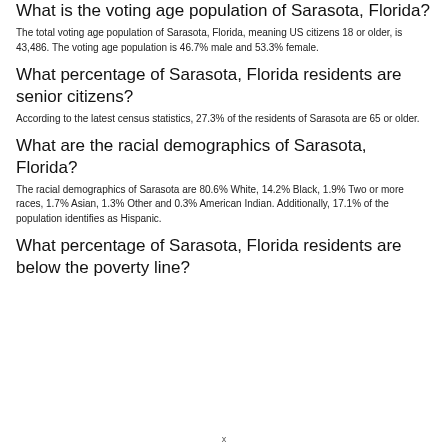What is the voting age population of Sarasota, Florida?
The total voting age population of Sarasota, Florida, meaning US citizens 18 or older, is 43,486. The voting age population is 46.7% male and 53.3% female.
What percentage of Sarasota, Florida residents are senior citizens?
According to the latest census statistics, 27.3% of the residents of Sarasota are 65 or older.
What are the racial demographics of Sarasota, Florida?
The racial demographics of Sarasota are 80.6% White, 14.2% Black, 1.9% Two or more races, 1.7% Asian, 1.3% Other and 0.3% American Indian. Additionally, 17.1% of the population identifies as Hispanic.
What percentage of Sarasota, Florida residents are below the poverty line?
x